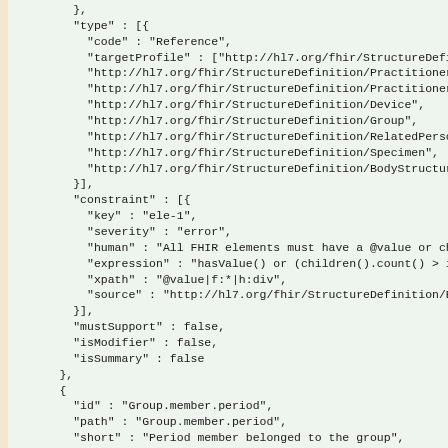JSON/FHIR StructureDefinition code snippet showing type, constraint, mustSupport, isModifier, isSummary fields and Group.member.period element definition